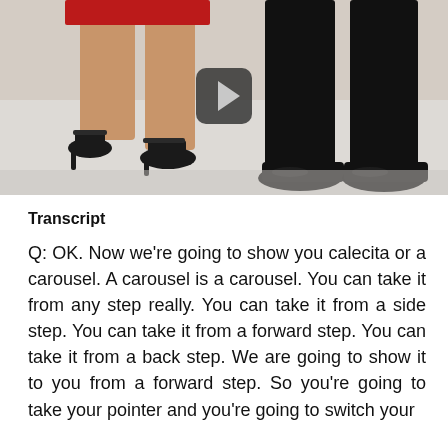[Figure (photo): Video thumbnail showing the feet and lower legs of two dancers — a woman in red dress and black heeled sandals, and a man in black trousers and black shoes — on a white floor, with a video play button overlay in the center.]
Transcript
Q: OK. Now we're going to show you calecita or a carousel. A carousel is a carousel. You can take it from any step really. You can take it from a side step. You can take it from a forward step. You can take it from a back step. We are going to show it to you from a forward step. So you're going to take your pointer and you're going to switch your weight to your left. You're going to take that...